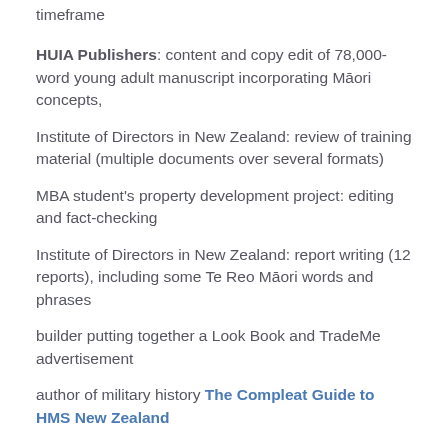timeframe
HUIA Publishers: content and copy edit of 78,000-word young adult manuscript incorporating Māori concepts,
Institute of Directors in New Zealand: review of training material (multiple documents over several formats)
MBA student's property development project: editing and fact-checking
Institute of Directors in New Zealand: report writing (12 reports), including some Te Reo Māori words and phrases
builder putting together a Look Book and TradeMe advertisement
author of military history The Compleat Guide to HMS New Zealand